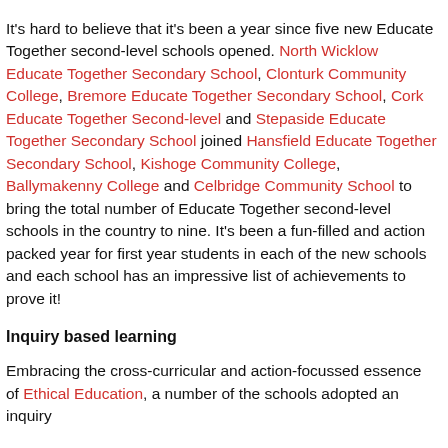It's hard to believe that it's been a year since five new Educate Together second-level schools opened. North Wicklow Educate Together Secondary School, Clonturk Community College, Bremore Educate Together Secondary School, Cork Educate Together Second-level and Stepaside Educate Together Secondary School joined Hansfield Educate Together Secondary School, Kishoge Community College, Ballymakenny College and Celbridge Community School to bring the total number of Educate Together second-level schools in the country to nine. It's been a fun-filled and action packed year for first year students in each of the new schools and each school has an impressive list of achievements to prove it!
Inquiry based learning
Embracing the cross-curricular and action-focussed essence of Ethical Education, a number of the schools adopted an inquiry